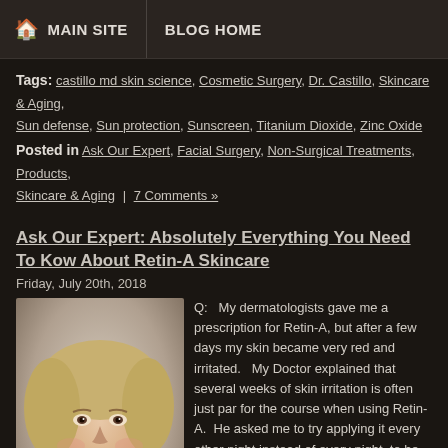MAIN SITE | BLOG HOME
Tags: castillo md skin science, Cosmetic Surgery, Dr. Castillo, Skincare & Aging, Sun defense, Sun protection, Sunscreen, Titanium Dioxide, Zinc Oxide
Posted in Ask Our Expert, Facial Surgery, Non-Surgical Treatments, Products, Skincare & Aging | 7 Comments »
Ask Our Expert: Absolutely Everything You Need To Kow About Retin-A Skincare
Friday, July 20th, 2018
[Figure (photo): Photo of a smiling blonde woman touching her face]
Q:   My dermatologists gave me a prescription for Retin-A, but after a few days my skin became very red and irritated.   My Doctor explained that several weeks of skin irritation is often just par for the course when using Retin-A.  He asked me to try applying it every other night instead of every night, to be patient and that eventually the irritation would resolve itself.  I stopped using the Retin-A because the irritation was worse than my aging skin.  Is there anything else I can do?